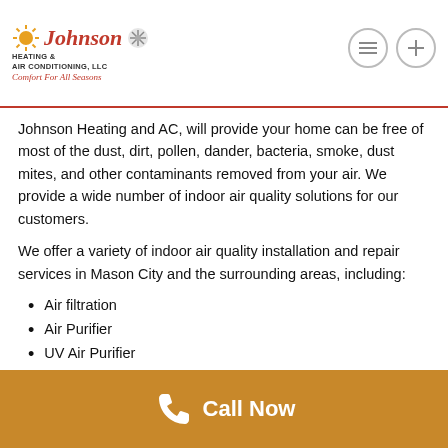[Figure (logo): Johnson Heating & Air Conditioning, LLC logo with sun and snowflake icons, tagline 'Comfort For All Seasons' in red italic text]
Johnson Heating and AC, will provide your home can be free of most of the dust, dirt, pollen, dander, bacteria, smoke, dust mites, and other contaminants removed from your air. We provide a wide number of indoor air quality solutions for our customers.
We offer a variety of indoor air quality installation and repair services in Mason City and the surrounding areas, including:
Air filtration
Air Purifier
UV Air Purifier
Whole house humidifier
Call Now